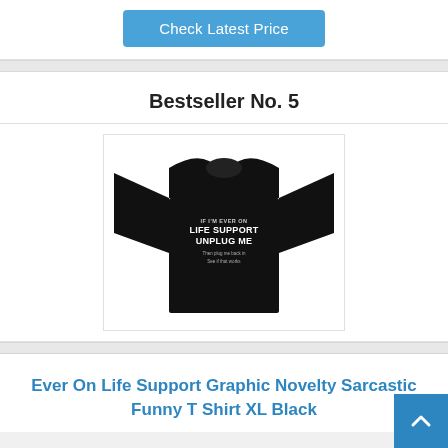Check Latest Price
Bestseller No. 5
[Figure (photo): Black graphic t-shirt with text 'If I'm Ever On Life Support Unplug Me, Then Plug Me Back In See If That Works']
Ever On Life Support Graphic Novelty Sarcastic Funny T Shirt XL Black